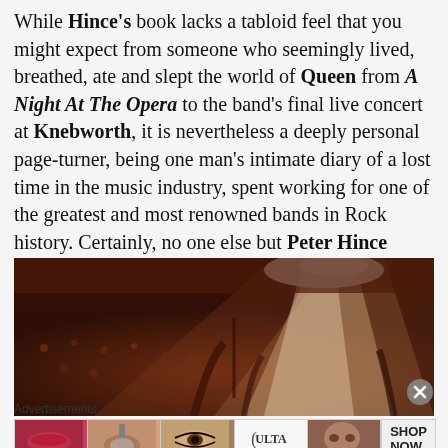While Hince's book lacks a tabloid feel that you might expect from someone who seemingly lived, breathed, ate and slept the world of Queen from A Night At The Opera to the band's final live concert at Knebworth, it is nevertheless a deeply personal page-turner, being one man's intimate diary of a lost time in the music industry, spent working for one of the greatest and most renowned bands in Rock history. Certainly, no one else but Peter Hince could've written a book like this one.
[Figure (photo): Concert photograph showing a performer on stage with bright spotlight beams overhead and a large crowd visible in the background. Dark warm-toned image with orange and brown hues.]
Advertisements
[Figure (photo): Ulta Beauty advertisement banner showing multiple close-up beauty/makeup images including lips, eye makeup, and a model's face, with the Ulta logo and SHOP NOW text.]